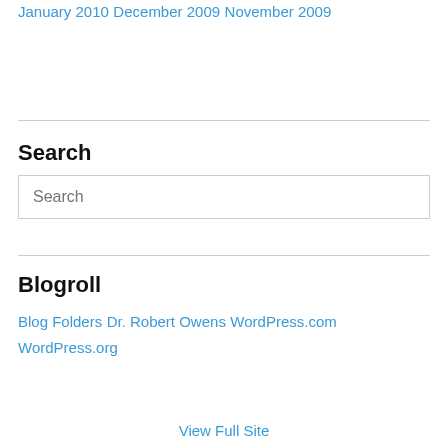January 2010
December 2009
November 2009
Search
Search
Blogroll
Blog Folders
Dr. Robert Owens
WordPress.com
WordPress.org
View Full Site